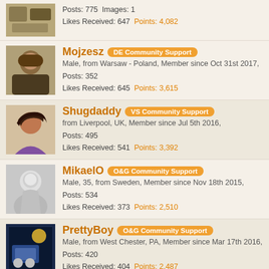Posts: 775  Images: 1
Likes Received: 647  Points: 4,082
Mojzesz [DE Community Support] Male, from Warsaw - Poland, Member since Oct 31st 2017,
Posts: 352
Likes Received: 645  Points: 3,615
Shugdaddy [VS Community Support] from Liverpool, UK, Member since Jul 5th 2016,
Posts: 495
Likes Received: 541  Points: 3,392
MikaelO [O&G Community Support] Male, 35, from Sweden, Member since Nov 18th 2015,
Posts: 534
Likes Received: 373  Points: 2,510
PrettyBoy [O&G Community Support] Male, from West Chester, PA, Member since Mar 17th 2016,
Posts: 420
Likes Received: 404  Points: 2,487
Ironrock [BH Community Support] Male, from Milton Keynes- UK, Member since Nov 6th 2015,
Posts: 286
Likes Received: 379  Points: 2,247